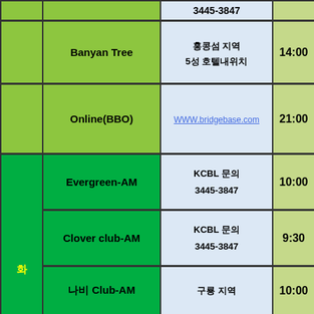| Day | Club Name | Info | Time |
| --- | --- | --- | --- |
|  |  | 3445-3847 |  |
|  | Banyan Tree | 홍콩섬 지역
5성 호텔내위치 | 14:00 |
|  | Online(BBO) | WWW.bridgebase.com | 21:00 |
| 화 | Evergreen-AM | KCBL 문의
3445-3847 | 10:00 |
|  | Clover club-AM | KCBL 문의
3445-3847 | 9:30 |
|  | 나비 Club-AM | 구룡 지역 | 10:00 |
|  | Finesse-PM | KCBL 문의
3445-3847 | 14:00 |